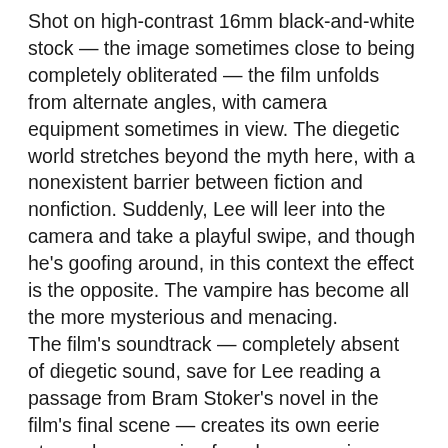Shot on high-contrast 16mm black-and-white stock — the image sometimes close to being completely obliterated — the film unfolds from alternate angles, with camera equipment sometimes in view. The diegetic world stretches beyond the myth here, with a nonexistent barrier between fiction and nonfiction. Suddenly, Lee will leer into the camera and take a playful swipe, and though he's goofing around, in this context the effect is the opposite. The vampire has become all the more mysterious and menacing.
The film's soundtrack — completely absent of diegetic sound, save for Lee reading a passage from Bram Stoker's novel in the film's final scene — creates its own eerie atmosphere, veering from lounge-y piano tunes to avant-garde droning. In the film's penultimate scene, the soundtrack stutters, looping one second over and over and over, directly countering the supposed climax taking place on screen.
As a deconstruction, as a tone poem, as an accompaniment and as a piece of standalone experimental film, Vampir is a fascinating work, and Second Run's region-free Blu-ray is a